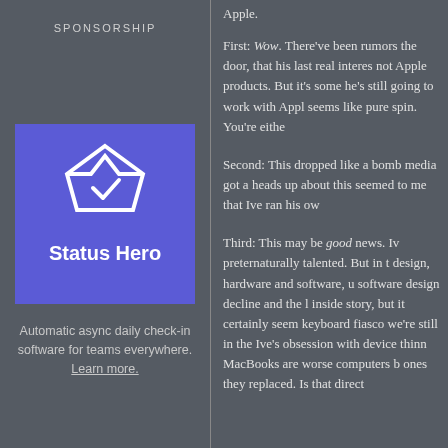SPONSORSHIP
[Figure (logo): Status Hero logo — white diamond with checkmark on purple/blue background, with bold white text 'Status Hero']
Automatic async daily check-in software for teams everywhere. Learn more.
Apple.
First: Wow. There've been rumors the door, that his last real interes not Apple products. But it's some he's still going to work with Appl seems like pure spin. You're eithe
Second: This dropped like a bomb media got a heads up about this seemed to me that Ive ran his ow
Third: This may be good news. Iv preternaturally talented. But in t design, hardware and software, u software design decline and the l inside story, but it certainly seem keyboard fiasco we're still in the Ive's obsession with device thinn MacBooks are worse computers b ones they replaced. Is that direct